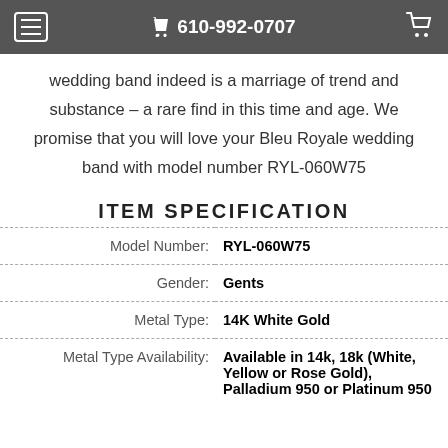☰  610-992-0707  🛒
wedding band indeed is a marriage of trend and substance – a rare find in this time and age. We promise that you will love your Bleu Royale wedding band with model number RYL-060W75
ITEM SPECIFICATION
| Label | Value |
| --- | --- |
| Model Number: | RYL-060W75 |
| Gender: | Gents |
| Metal Type: | 14K White Gold |
| Metal Type Availability: | Available in 14k, 18k (White, Yellow or Rose Gold), Palladium 950 or Platinum 950 |